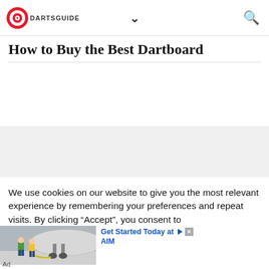DARTSGUIDE [logo] [chevron] [search]
How to Buy the Best Dartboard
[Figure (other): Gray band / blank content area placeholder]
We use cookies on our website to give you the most relevant experience by remembering your preferences and repeat visits. By clicking “Accept”, you consent to
[Figure (photo): Advertisement image showing aircraft landing gear with ground crew in high-visibility vests at an airport]
Get Started Today at AIM
Ad